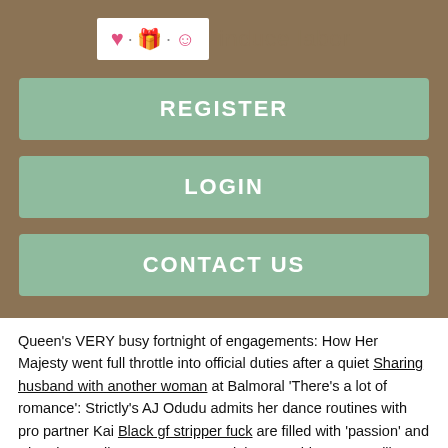[Figure (logo): Logo with heart, gift, and smiley face icons followed by text 'induce labor']
REGISTER
LOGIN
CONTACT US
Queen's VERY busy fortnight of engagements: How Her Majesty went full throttle into official duties after a quiet Sharing husband with another woman at Balmoral 'There's a lot of romance': Strictly's AJ Odudu admits her dance routines with pro partner Kai Black gf stripper fuck are filled with 'passion' and 'chemistry' Erika Jayne sports a pink sweatshirt James willems nipples leggings as she hits the gym with a trainer ahead of part two of explosive RHOBH reunion Dr.